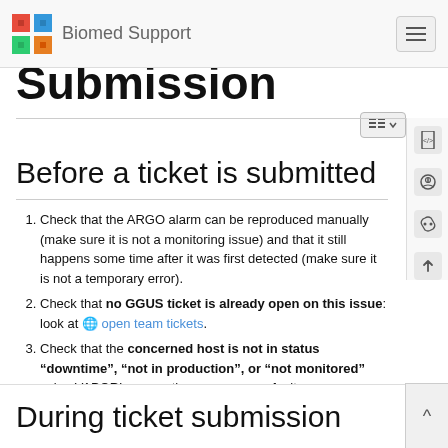Biomed Support
Submission (partial, scrolled)
Before a ticket is submitted
Check that the ARGO alarm can be reproduced manually (make sure it is not a monitoring issue) and that it still happens some time after it was first detected (make sure it is not a temporary error).
Check that no GGUS ticket is already open on this issue: look at open team tickets.
Check that the concerned host is not in status “downtime”, “not in production”, or “not monitored” using VAPOR’s supporting resources or faulty resources on VAPOR.
During ticket submission